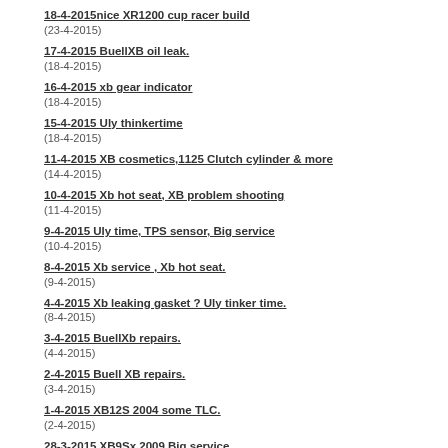18-4-2015nice XR1200 cup racer build
(23-4-2015)
17-4-2015 BuellXB oil leak.
(18-4-2015)
16-4-2015 xb gear indicator
(18-4-2015)
15-4-2015 Uly thinkertime
(18-4-2015)
11-4-2015 XB cosmetics,1125 Clutch cylinder & more
(14-4-2015)
10-4-2015 Xb hot seat, XB problem shooting
(11-4-2015)
9-4-2015 Uly time, TPS sensor, Big service
(10-4-2015)
8-4-2015 Xb service , Xb hot seat.
(9-4-2015)
4-4-2015 Xb leaking gasket ? Uly tinker time.
(8-4-2015)
3-4-2015 BuellXb repairs.
(4-4-2015)
2-4-2015 Buell XB repairs.
(3-4-2015)
1-4-2015 XB12S 2004 some TLC.
(2-4-2015)
28-3-2015 XB9Sx 2009 Big service.
(1-4-2015)
27-3-2015 1125 service with a twist, X1 running...